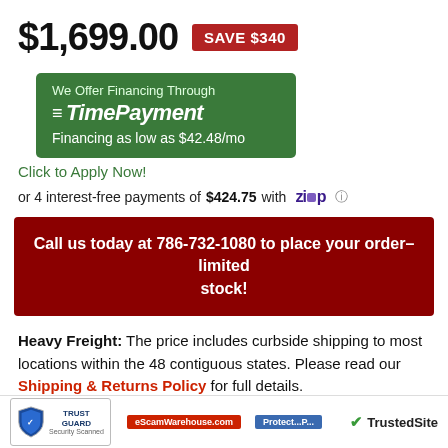$1,699.00  SAVE $340
[Figure (infographic): Green financing banner: We Offer Financing Through TimePayment. Financing as low as $42.48/mo]
Click to Apply Now!
or 4 interest-free payments of $424.75 with Zip
Call us today at 786-732-1080 to place your order–limited stock!
Heavy Freight: The price includes curbside shipping to most locations within the 48 contiguous states. Please read our Shipping & Returns Policy for full details.
Trust Guard Security Scanned | TrustedSite